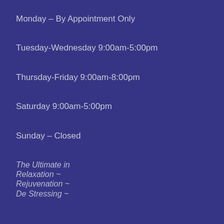Monday – By Appointment Only
Tuesday-Wednesday 9:00am-5:00pm
Thursday-Friday 9:00am-8:00pm
Saturday 9:00am-5:00pm
Sunday – Closed
The Ultimate in Relaxation ~ Rejuvenation ~ De Stressing ~